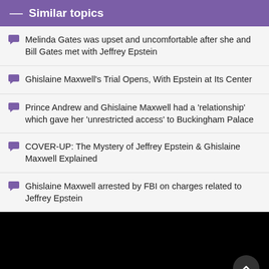— Similar topics
Melinda Gates was upset and uncomfortable after she and Bill Gates met with Jeffrey Epstein
Ghislaine Maxwell's Trial Opens, With Epstein at Its Center
Prince Andrew and Ghislaine Maxwell had a 'relationship' which gave her 'unrestricted access' to Buckingham Palace
COVER-UP: The Mystery of Jeffrey Epstein & Ghislaine Maxwell Explained
Ghislaine Maxwell arrested by FBI on charges related to Jeffrey Epstein
Home  Last  Log in